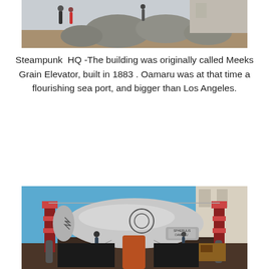[Figure (photo): Outdoor scene with large rocks and people walking, appears to be a public area or plaza]
Steampunk  HQ -The building was originally called Meeks Grain Elevator, built in 1883 . Oamaru was at that time a flourishing sea port, and bigger than Los Angeles.
[Figure (photo): Steampunk airship/blimp sculpture displayed outdoors at Steampunk HQ in Oamaru, with industrial steampunk decorations including metal towers, gears, and various machinery around it. Blue sky background.]